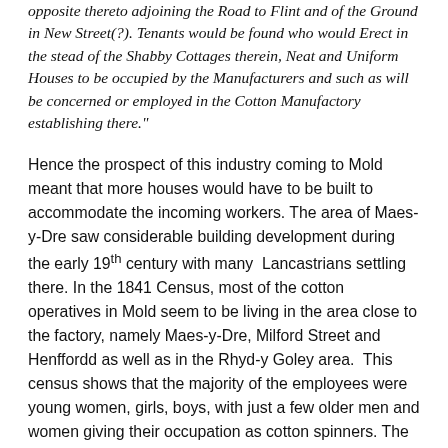opposite thereto adjoining the Road to Flint and of the Ground in New Street(?). Tenants would be found who would Erect in the stead of the Shabby Cottages therein, Neat and Uniform Houses to be occupied by the Manufacturers and such as will be concerned or employed in the Cotton Manufactory establishing there."
Hence the prospect of this industry coming to Mold meant that more houses would have to be built to accommodate the incoming workers. The area of Maes-y-Dre saw considerable building development during the early 19th century with many Lancastrians settling there. In the 1841 Census, most of the cotton operatives in Mold seem to be living in the area close to the factory, namely Maes-y-Dre, Milford Street and Henffordd as well as in the Rhyd-y Goley area. This census shows that the majority of the employees were young women, girls, boys, with just a few older men and women giving their occupation as cotton spinners. The young women seem to be mainly late teens